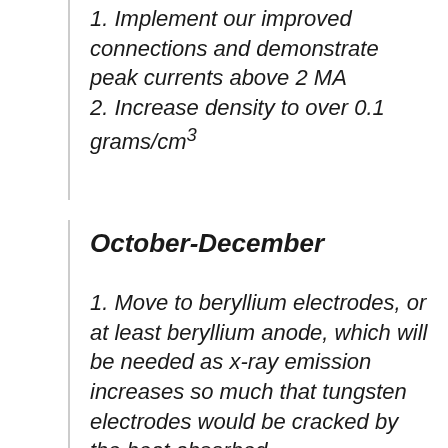1. Implement our improved connections and demonstrate peak currents above 2 MA
2. Increase density to over 0.1 grams/cm³
October-December
1. Move to beryllium electrodes, or at least beryllium anode, which will be needed as x-ray emission increases so much that tungsten electrodes would be cracked by the heat absorbed